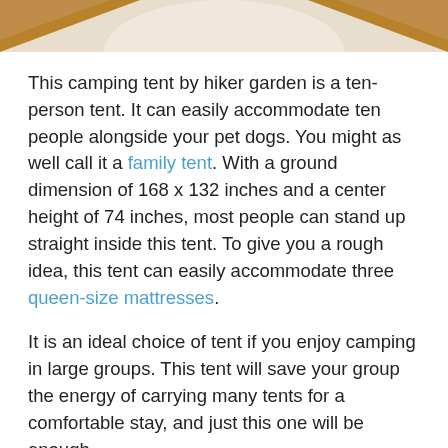[Figure (illustration): Decorative header with tan/beige background, golden-brown triangular shapes on the left and right corners, and a light arch shape in the center.]
This camping tent by hiker garden is a ten-person tent. It can easily accommodate ten people alongside your pet dogs. You might as well call it a family tent. With a ground dimension of 168 x 132 inches and a center height of 74 inches, most people can stand up straight inside this tent. To give you a rough idea, this tent can easily accommodate three queen-size mattresses.
It is an ideal choice of tent if you enjoy camping in large groups. This tent will save your group the energy of carrying many tents for a comfortable stay, and just this one will be enough.